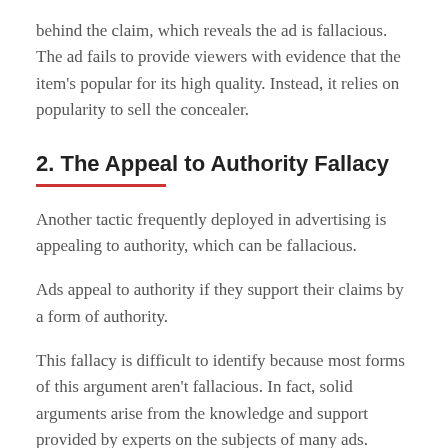behind the claim, which reveals the ad is fallacious. The ad fails to provide viewers with evidence that the item's popular for its high quality. Instead, it relies on popularity to sell the concealer.
2. The Appeal to Authority Fallacy
Another tactic frequently deployed in advertising is appealing to authority, which can be fallacious.
Ads appeal to authority if they support their claims by a form of authority.
This fallacy is difficult to identify because most forms of this argument aren't fallacious. In fact, solid arguments arise from the knowledge and support provided by experts on the subjects of many ads.